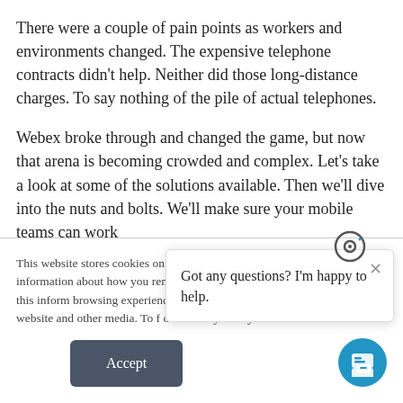There were a couple of pain points as workers and environments changed. The expensive telephone contracts didn't help. Neither did those long-distance charges. To say nothing of the pile of actual telephones.
Webex broke through and changed the game, but now that arena is becoming crowded and complex. Let's take a look at some of the solutions available. Then we'll dive into the nuts and bolts. We'll make sure your mobile teams can work
This website stores cookies on yo... collect information about how you... remember you. We use this inform... browsing experience and for anal... this website and other media. To f... our Privacy Policy.
Got any questions? I'm happy to help.